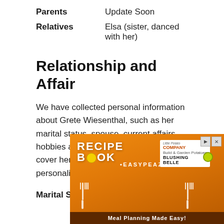| Parents | Update Soon |
| Relatives | Elsa (sister, danced with her) |
Relationship and Affair
We have collected personal information about Grete Wiesenthal, such as her marital status, spouse, current affairs, hobbies and more. We have tried to cover her favorite things and personalities here.
| Marital Status | Married |
[Figure (other): Advertisement banner for 'Recipe Book Easy Peazy' by Little Potato Company featuring Blushing Belle potatoes. Orange and brown background with text 'Meal Planning Made Easy!']